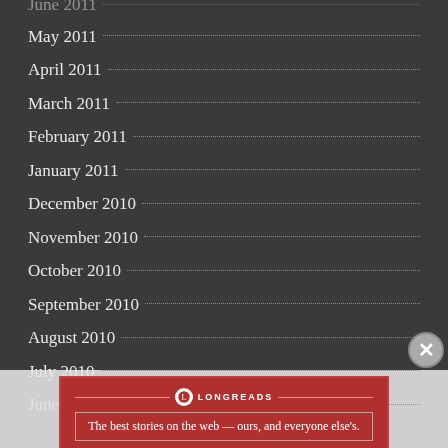May 2011
April 2011
March 2011
February 2011
January 2011
December 2010
November 2010
October 2010
September 2010
August 2010
July 2010
June 2010
[Figure (logo): Longreads advertisement banner with logo and tagline]
The best stories on the web — ours, and everyone else's.